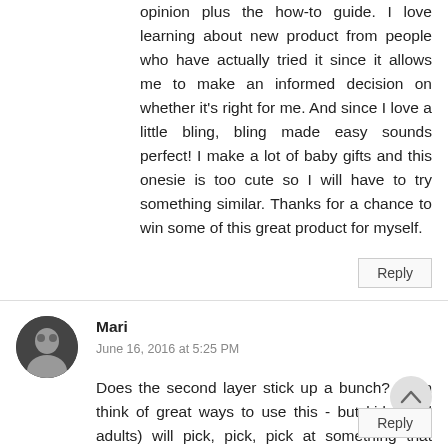opinion plus the how-to guide. I love learning about new product from people who have actually tried it since it allows me to make an informed decision on whether it's right for me. And since I love a little bling, bling made easy sounds perfect! I make a lot of baby gifts and this onesie is too cute so I will have to try something similar. Thanks for a chance to win some of this great product for myself.
Reply
Mari
June 16, 2016 at 5:25 PM
Does the second layer stick up a bunch? I can think of great ways to use this - but kids (and adults) will pick, pick, pick at something that sticks out a bunch!
Reply